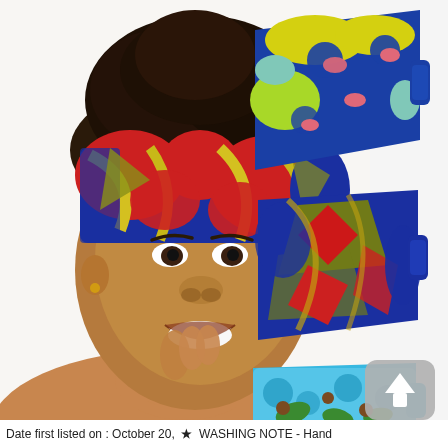[Figure (photo): Product photo showing a smiling young Black woman wearing a colorful African print wide headband in red, blue, and yellow patterns. To her right are three folded/flat headbands in different African wax print patterns: top one in blue/yellow/pink floral, middle one in blue/red/olive geometric, bottom one in light blue/green/brown leaf motif. A grey scroll-to-top button is partially visible in the lower right corner.]
Date first listed on : October 20,  ★  WASHING NOTE - Hand